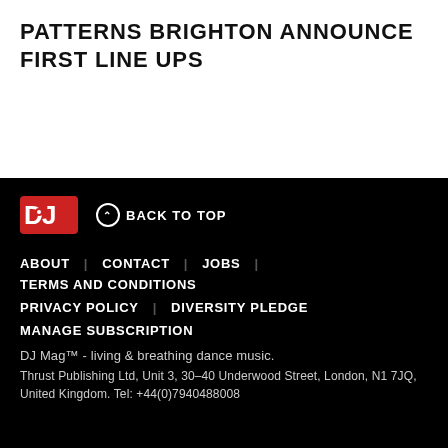PATTERNS BRIGHTON ANNOUNCE FIRST LINE UPS
DJ Mag logo | BACK TO TOP | ABOUT | CONTACT | JOBS | TERMS AND CONDITIONS | PRIVACY POLICY | DIVERSITY PLEDGE | MANAGE SUBSCRIPTION | DJ Mag™ - living & breathing dance music. | Thrust Publishing Ltd, Unit 3, 30-40 Underwood Street, London, N1 7JQ, United Kingdom. Tel: +44(0)7940488008